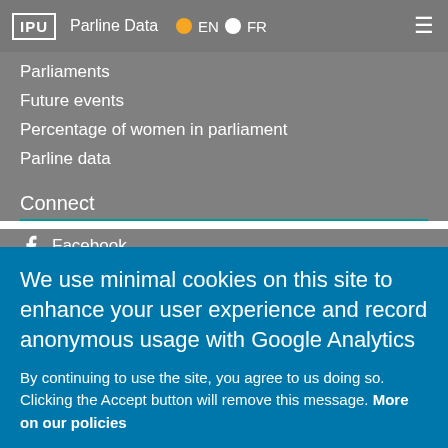IPU | Parline Data | EN | FR
Parliaments
Future events
Percentage of women in parliament
Parline data
Connect
Facebook
Flickr
Instagram
LinkedIn
Twitter
We use minimal cookies on this site to enhance your user experience and record anonymous usage with Google Analytics
By continuing to use the site, you agree to us doing so. Clicking the Accept button will remove this message. More on our policies